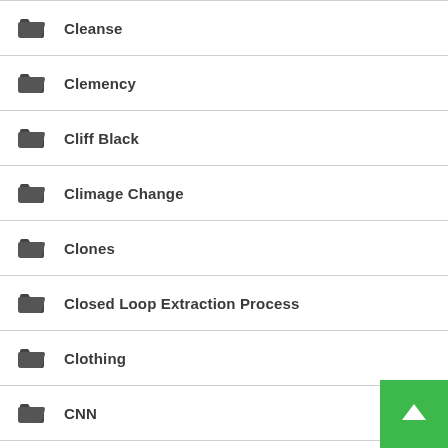Cleanse
Clemency
Cliff Black
Climage Change
Clones
Closed Loop Extraction Process
Clothing
CNN
Coalition To Regulate Marijuana Like Alcohol
Coffeeshops
Cold And Flu
Cold Front
Cold Weather